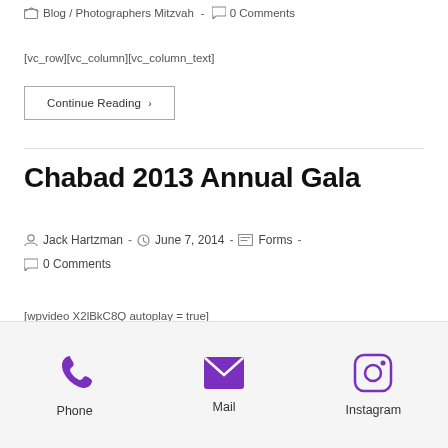Blog / Photographers Mitzvah - 0 Comments
[vc_row][vc_column][vc_column_text]
Continue Reading ›
Chabad 2013 Annual Gala
Jack Hartzman · June 7, 2014 · Forms · 0 Comments
[wpvideo X2lBkC8Q autoplay = true]
Phone   Mail   Instagram